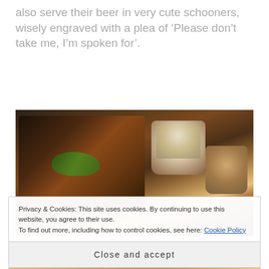also serve their beer in very cute schooners, wisely engraved with a plea of ‘Please don’t take me, I’m spoken for’.
[Figure (photo): Photograph of food on a dark wooden table: a takeout box with chicken wings garnished with herbs, two white paper cups containing coleslaw and a side dish, photographed in low light]
Privacy & Cookies: This site uses cookies. By continuing to use this website, you agree to their use.
To find out more, including how to control cookies, see here: Cookie Policy
Close and accept